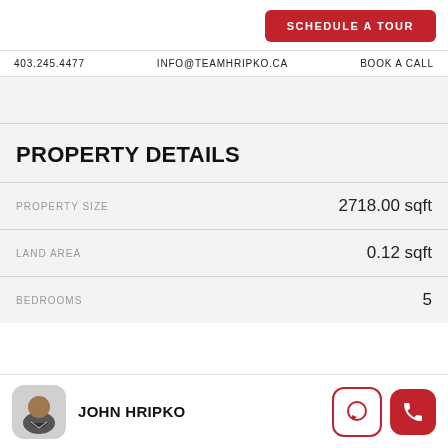SCHEDULE A TOUR
403.245.4477   INFO@TEAMHRIPKO.CA   BOOK A CALL
PROPERTY DETAILS
|  |  |
| --- | --- |
| PROPERTY SIZE | 2718.00 sqft |
| LAND AREA | 0.12 sqft |
| BEDROOMS | 5 |
JOHN HRIPKO